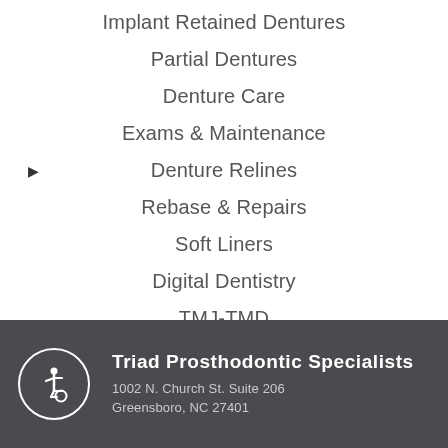Implant Retained Dentures
Partial Dentures
Denture Care
Exams & Maintenance
Denture Relines
Rebase & Repairs
Soft Liners
Digital Dentistry
TMJ-TMD
Triad Prosthodontic Specialists
1002 N. Church St. Suite 206
Greensboro, NC 27401